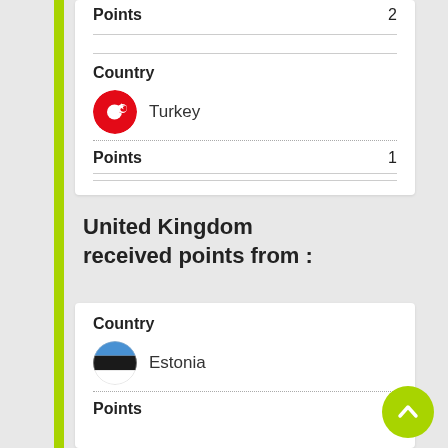Points  2
Country
[Figure (illustration): Turkish flag circle icon (red with white crescent and star)]
Turkey
Points  1
United Kingdom received points from :
Country
[Figure (illustration): Estonian flag circle icon (blue black white horizontal stripes)]
Estonia